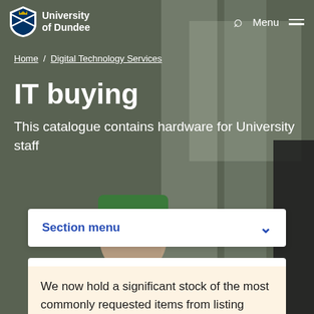[Figure (screenshot): University of Dundee website screenshot showing hero image with a student wearing a green cap, with navigation bar at top]
University of Dundee  |  Menu
Home / Digital Technology Services
IT buying
This catalogue contains hardware for University staff
Section menu
We now hold a significant stock of the most commonly requested items from listing below. Contact us directly about bulk